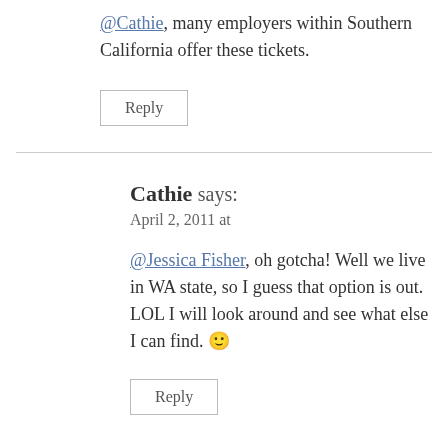@Cathie, many employers within Southern California offer these tickets.
Reply
Cathie says: April 2, 2011 at
@Jessica Fisher, oh gotcha! Well we live in WA state, so I guess that option is out. LOL I will look around and see what else I can find. 🙂
Reply